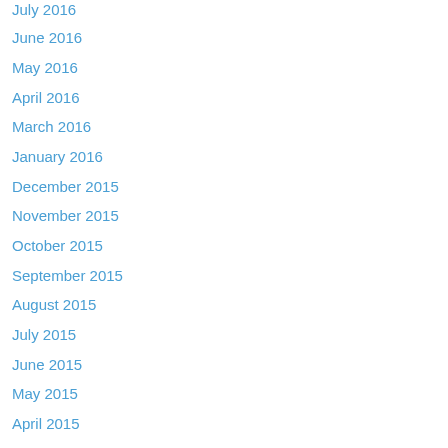July 2016
June 2016
May 2016
April 2016
March 2016
January 2016
December 2015
November 2015
October 2015
September 2015
August 2015
July 2015
June 2015
May 2015
April 2015
March 2015
February 2015
January 2015
November 2014
October 2014
September 2014